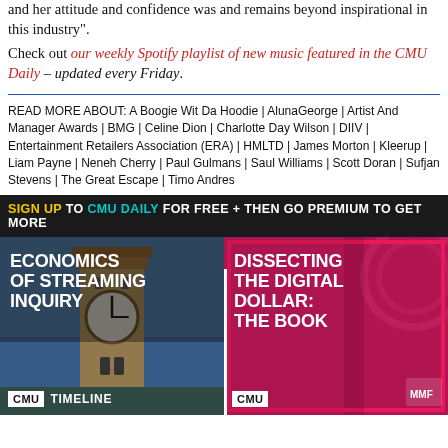and her attitude and confidence was and remains beyond inspirational in this industry".
Check out our weekly Spotify playlist of new music featured in the CMU Daily – updated every Friday.
READ MORE ABOUT: A Boogie Wit Da Hoodie | AlunaGeorge | Artist And Manager Awards | BMG | Celine Dion | Charlotte Day Wilson | DIIV | Entertainment Retailers Association (ERA) | HMLTD | James Morton | Kleerup | Liam Payne | Neneh Cherry | Paul Gulmans | Saul Williams | Scott Doran | Sufjan Stevens | The Great Escape | Timo Andres
SIGN UP TO CMU DAILY FOR FREE + THEN GO PREMIUM TO GET MORE
[Figure (photo): Economics of Streaming Inquiry – CMU Timeline card with Big Ben clock tower background]
[Figure (photo): Dissecting The Digital Dollar: The Book – CMU card with pink/magenta background]